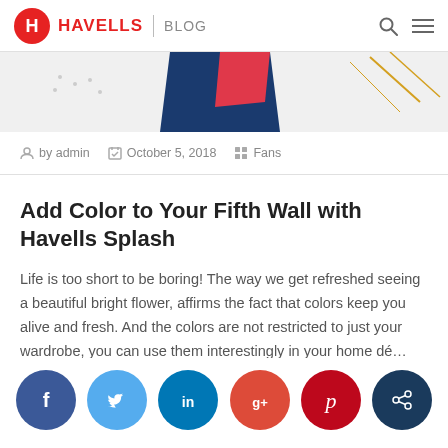HAVELLS | BLOG
[Figure (photo): Partial view of a blog article hero image showing colorful elements]
by admin   October 5, 2018   Fans
Add Color to Your Fifth Wall with Havells Splash
Life is too short to be boring! The way we get refreshed seeing a beautiful bright flower, affirms the fact that colors keep you alive and fresh. And the colors are not restricted to just your wardrobe, you can use them interestingly in your home dé... Read more
[Figure (other): Social media share buttons row: Facebook, Twitter, LinkedIn, Google+, Pinterest, Share]